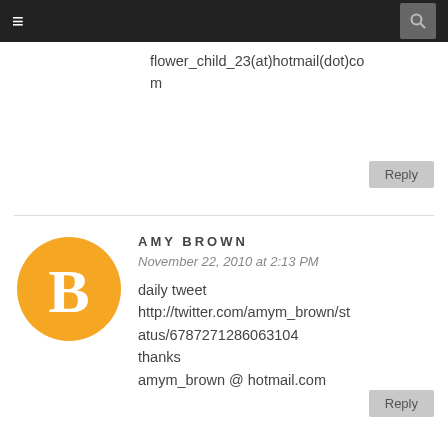≡  🔍
flower_child_23(at)hotmail(dot)com
Reply
AMY BROWN
November 22, 2010 at 2:13 PM
daily tweet
http://twitter.com/amym_brown/status/6787271286063104
thanks
amym_brown @ hotmail.com
Reply